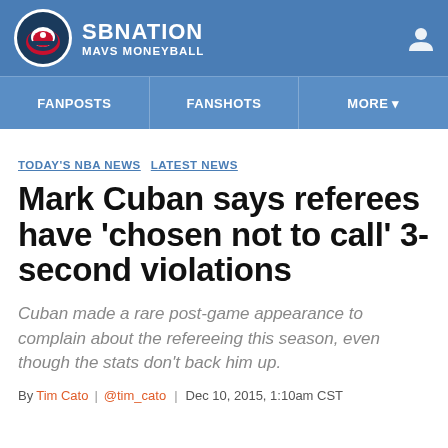SB NATION — MAVS MONEYBALL
FANPOSTS  FANSHOTS  MORE
TODAY'S NBA NEWS  LATEST NEWS
Mark Cuban says referees have 'chosen not to call' 3-second violations
Cuban made a rare post-game appearance to complain about the refereeing this season, even though the stats don't back him up.
By Tim Cato | @tim_cato | Dec 10, 2015, 1:10am CST